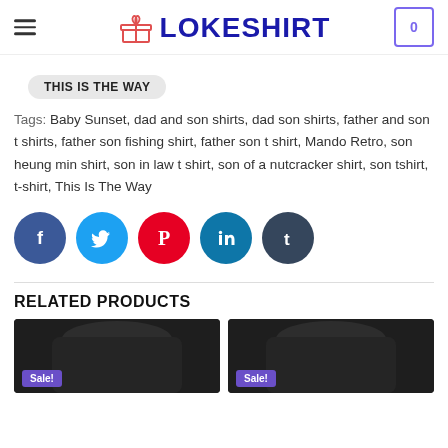LOKESHIRT
THIS IS THE WAY
Tags: Baby Sunset, dad and son shirts, dad son shirts, father and son t shirts, father son fishing shirt, father son t shirt, Mando Retro, son heung min shirt, son in law t shirt, son of a nutcracker shirt, son tshirt, t-shirt, This Is The Way
[Figure (infographic): Social media share buttons: Facebook, Twitter, Pinterest, LinkedIn, Tumblr]
RELATED PRODUCTS
[Figure (photo): Product photo 1 - black t-shirt with Sale badge]
[Figure (photo): Product photo 2 - black t-shirt with Sale badge]